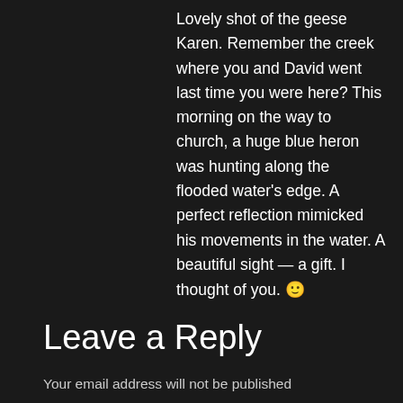Lovely shot of the geese Karen. Remember the creek where you and David went last time you were here? This morning on the way to church, a huge blue heron was hunting along the flooded water's edge. A perfect reflection mimicked his movements in the water. A beautiful sight — a gift. I thought of you. 🙂
Reply
Leave a Reply
Your email address will not be published